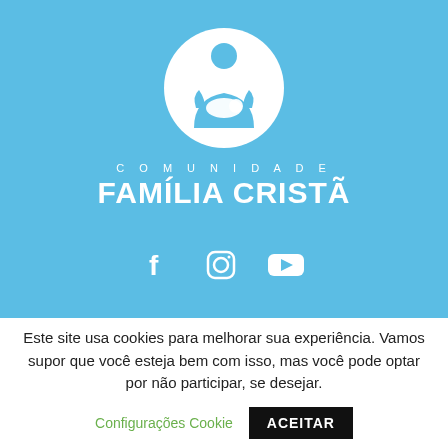[Figure (logo): Comunidade Família Cristã logo: white circle containing a silhouette of a person holding a baby, on a light blue background. Below the circle: 'COMUNIDADE' in spaced letters and 'FAMÍLIA CRISTÃ' in bold large text. Social media icons (Facebook, Instagram, YouTube) below.]
Este site usa cookies para melhorar sua experiência. Vamos supor que você esteja bem com isso, mas você pode optar por não participar, se desejar.
Configurações Cookie
ACEITAR